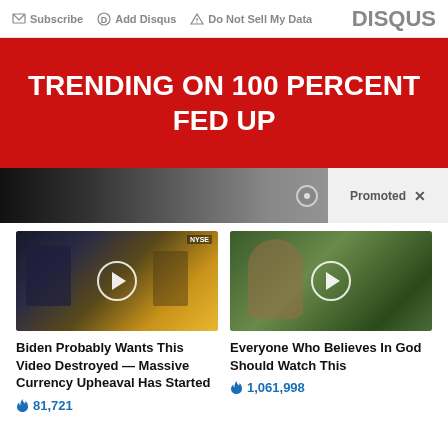Subscribe  Add Disqus  Do Not Sell My Data  DISQUS
TRENDING ON 100 PERCENT FED UP
[Figure (photo): Promoted content banner with photo of a person, showing 'Promoted X' label]
[Figure (photo): Video thumbnail showing two men at a news desk with NYSE in background and a play button overlay]
Biden Probably Wants This Video Destroyed — Massive Currency Upheaval Has Started
81,721
[Figure (photo): Video thumbnail showing a woman pointing with trees in background and a play button overlay]
Everyone Who Believes In God Should Watch This
1,061,998